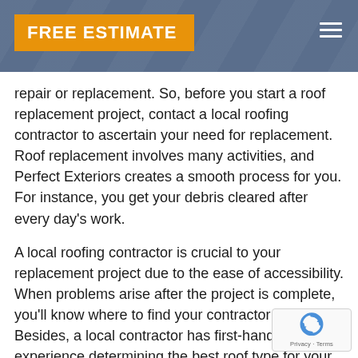FREE ESTIMATE
repair or replacement. So, before you start a roof replacement project, contact a local roofing contractor to ascertain your need for replacement. Roof replacement involves many activities, and Perfect Exteriors creates a smooth process for you. For instance, you get your debris cleared after every day's work.
A local roofing contractor is crucial to your replacement project due to the ease of accessibility. When problems arise after the project is complete, you'll know where to find your contractor physically. Besides, a local contractor has first-hand experience determining the best roof type for your Jordan roof replacement and other roof services.
[Figure (logo): reCAPTCHA badge with circular arrow icon and Privacy · Terms text]